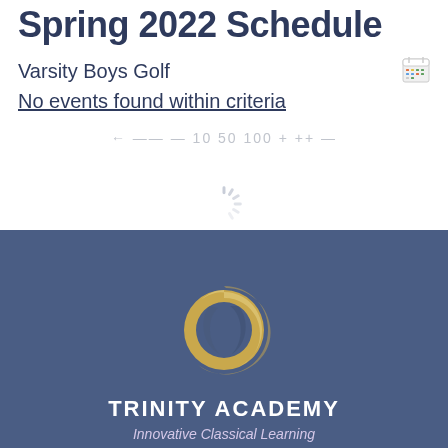Spring 2022 Schedule
Varsity Boys Golf
No events found within criteria
← —— — 10 50 100 + ++ —
[Figure (logo): Loading spinner icon (light blue/grey radiating lines) spanning the white-to-blue section boundary]
[Figure (logo): Trinity Academy circular gold swirl logo on blue background]
TRINITY ACADEMY
Innovative Classical Learning